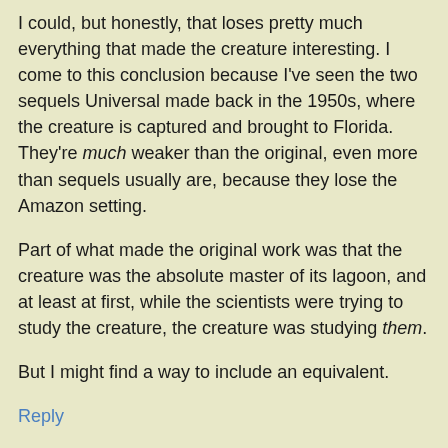I could, but honestly, that loses pretty much everything that made the creature interesting. I come to this conclusion because I've seen the two sequels Universal made back in the 1950s, where the creature is captured and brought to Florida. They're much weaker than the original, even more than sequels usually are, because they lose the Amazon setting.
Part of what made the original work was that the creature was the absolute master of its lagoon, and at least at first, while the scientists were trying to study the creature, the creature was studying them.
But I might find a way to include an equivalent.
Reply